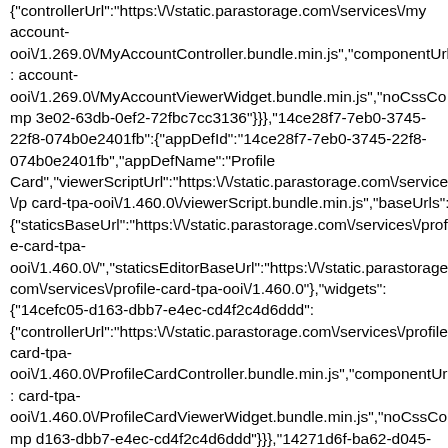{"controllerUrl":"https:\/\/static.parastorage.com\/services\/my-account-ooi\/1.269.0\/MyAccountController.bundle.min.js","componentUrl":"https:\/\/static.parastorage.com\/services\/my-account-ooi\/1.269.0\/MyAccountViewerWidget.bundle.min.js","noCssComp":"3e02-63db-0ef2-72fbc7cc3136"}}},{"14ce28f7-7eb0-3745-22f8-074b0e2401fb":{"appDefId":"14ce28f7-7eb0-3745-22f8-074b0e2401fb","appDefName":"Profile Card","viewerScriptUrl":"https:\/\/static.parastorage.com\/services\/profile-card-tpa-ooi\/1.460.0\/viewerScript.bundle.min.js","baseUrls":{"staticsBaseUrl":"https:\/\/static.parastorage.com\/services\/profile-card-tpa-ooi\/1.460.0\/","staticsEditorBaseUrl":"https:\/\/static.parastorage.com\/services\/profile-card-tpa-ooi\/1.460.0"},"widgets":{"14cefc05-d163-dbb7-e4ec-cd4f2c4d6ddd":{"controllerUrl":"https:\/\/static.parastorage.com\/services\/profile-card-tpa-ooi\/1.460.0\/ProfileCardController.bundle.min.js","componentUrl":"https:\/\/static.parastorage.com\/services\/profile-card-tpa-ooi\/1.460.0\/ProfileCardViewerWidget.bundle.min.js","noCssComp":"d163-dbb7-e4ec-cd4f2c4d6ddd"}}},{"14271d6f-ba62-d045-549b-ab972ae1f70e":{"appDefId":"14271d6f-ba62-d045-549b-ab972ae1f70e","appDefName":"Wix Pro Gallery","viewerScriptUrl":"https:\/\/static.parastorage.com\/services\/gallery-santa-wrapper\/1.2169.0\/viewerScript.bundle.min.js","baseUrls":